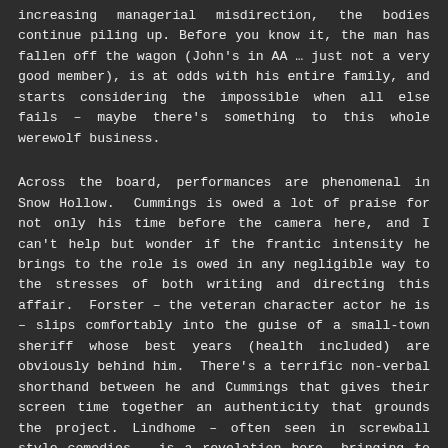increasing managerial misdirection, the bodies continue piling up. Before you know it, the man has fallen off the wagon (John's in AA … just not a very good member), is at odds with his entire family, and starts considering the impossible when all else fails – maybe there's something to this whole werewolf business.
Across the board, performances are phenomenal in Snow Hollow.  Cummings is owed a lot of praise for not only his time before the camera here, and I can't help but wonder if the frantic intensity he brings to the role is owed in any negligible way to the stresses of both writing and directing this affair.  Forster – the veteran character actor he is – slips comfortably into the guise of a small-town sheriff whose best years (health included) are obviously behind him.  There's a terrific non-verbal shorthand between he and Cummings that gives their screen time together an authenticity that grounds the project. Lindhome – often seen in screwball style comedies – is a revelation here, bringing to life the rather 'plain Jane' local yokel who joined the police force and makes the best of it against all odds.  And relative newcomer Chloe East gets great mileage out of a relatively small role as Marshall's daughter who can't quite decide if she loves or hates her father… such is the life of the great American teenager.